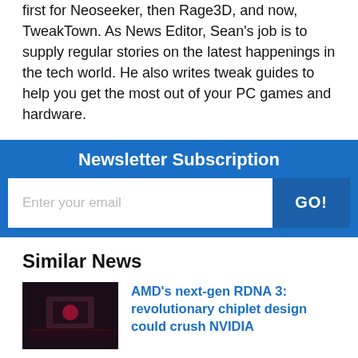first for Neoseeker, then Rage3D, and now, TweakTown. As News Editor, Sean's job is to supply regular stories on the latest happenings in the tech world. He also writes tweak guides to help you get the most out of your PC games and hardware.
Newsletter Subscription
Enter your email  GO!
Similar News
[Figure (photo): Thumbnail image of AMD RDNA 3 chiplet hardware, dark reddish tones]
AMD's next-gen RDNA 3: revolutionary chiplet design could crush NVIDIA
[Figure (photo): Thumbnail image of AMD Big Navi graphics card, dark tones with gold accents]
AMD Big Navi: November launch in reference form for RDNA 2 'Navi 2X'